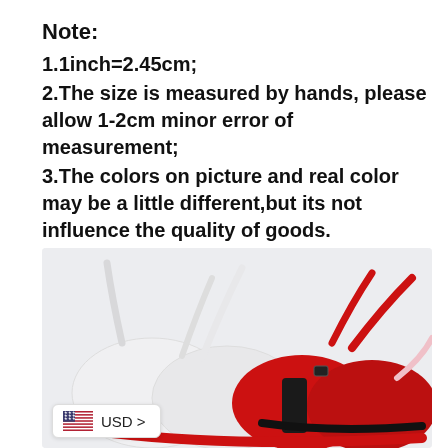Note:
1.1inch=2.45cm;
2.The size is measured by hands, please allow 1-2cm minor error of measurement;
3.The colors on picture and real color may be a little different,but its not influence the quality of goods.
[Figure (photo): Product photo showing multiple bras in red, white, and black colors with straps and clasps visible, displayed on a light background. A USD currency selector badge is visible at the bottom left.]